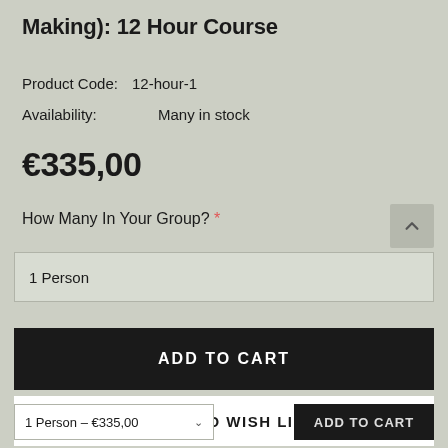Making): 12 Hour Course
Product Code:  12-hour-1
Availability:       Many in stock
€335,00
How Many In Your Group? *
1 Person
ADD TO CART
♥ ADD TO WISH LIST
1 Person – €335,00
English